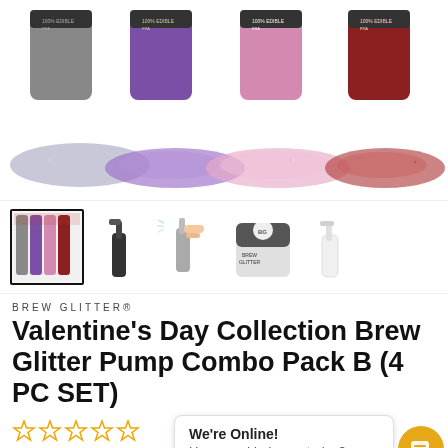[Figure (photo): Four glitter pump bottles with silver, purple, pink, and red glitter spilled in front, photographed on white background]
[Figure (photo): Row of product thumbnail images: group shot of 4 bottles (selected), single black pump bottle, hand spraying pump, large jar with brew glitter label, small white pump bottle]
BREW GLITTER®
Valentine's Day Collection Brew Glitter Pump Combo Pack B (4 PC SET)
[Figure (other): Five empty star rating icons in gold/orange outline]
kit_12820202089